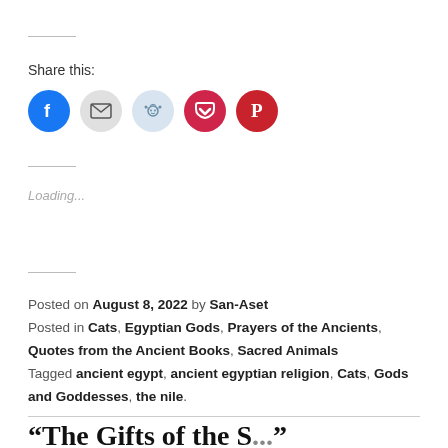Share this:
[Figure (infographic): Social sharing icon buttons: Facebook (blue circle), Email (grey circle with envelope), Reddit (light blue circle with alien mascot), Pocket (red circle with pocket icon), Pinterest (red circle with P logo)]
Loading...
Posted on August 8, 2022 by San-Aset
Posted in Cats, Egyptian Gods, Prayers of the Ancients, Quotes from the Ancient Books, Sacred Animals
Tagged ancient egypt, ancient egyptian religion, Cats, Gods and Goddesses, the nile.
“The Gifts of the Sacred...”